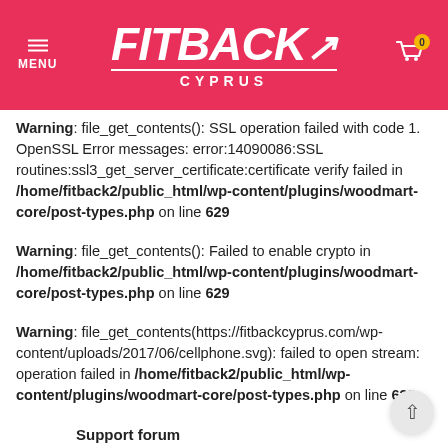FITBACK CYPRUS — MENU / Cart (0)
Warning: file_get_contents(): SSL operation failed with code 1. OpenSSL Error messages: error:14090086:SSL routines:ssl3_get_server_certificate:certificate verify failed in /home/fitback2/public_html/wp-content/plugins/woodmart-core/post-types.php on line 629
Warning: file_get_contents(): Failed to enable crypto in /home/fitback2/public_html/wp-content/plugins/woodmart-core/post-types.php on line 629
Warning: file_get_contents(https://fitbackcyprus.com/wp-content/uploads/2017/06/cellphone.svg): failed to open stream: operation failed in /home/fitback2/public_html/wp-content/plugins/woodmart-core/post-types.php on line 629
Support forum
for over 24h